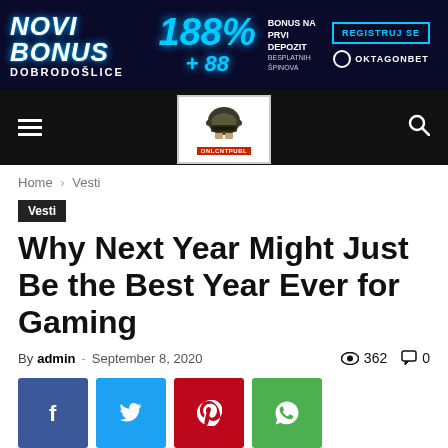[Figure (screenshot): Novi Bonus 188% advertisement banner for OktagonBet casino - dark blue background with neon text]
[Figure (logo): Website logo - soldier/helmet illustration with red banner text, on white background, in black navigation bar]
Home › Vesti
Vesti
Why Next Year Might Just Be the Best Year Ever for Gaming
By admin - September 8, 2020 362 0
[Figure (infographic): Social sharing buttons: Facebook (blue), Twitter (light blue), Pinterest (red), WhatsApp (green)]